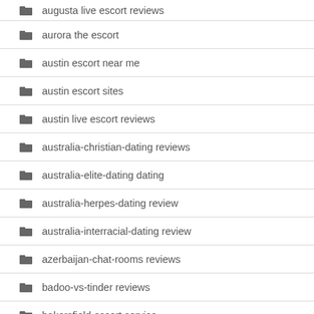augusta live escort reviews
aurora the escort
austin escort near me
austin escort sites
austin live escort reviews
australia-christian-dating reviews
australia-elite-dating dating
australia-herpes-dating review
australia-interracial-dating review
azerbaijan-chat-rooms reviews
badoo-vs-tinder reviews
bakersfield escort service